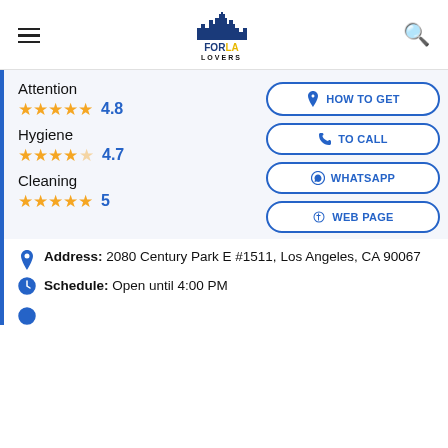[Figure (logo): FOR LA LOVERS logo with city skyline icon]
Attention
★★★★★ 4.8
Hygiene
★★★★½ 4.7
Cleaning
★★★★★ 5
HOW TO GET
TO CALL
WHATSAPP
WEB PAGE
Address: 2080 Century Park E #1511, Los Angeles, CA 90067
Schedule: Open until 4:00 PM